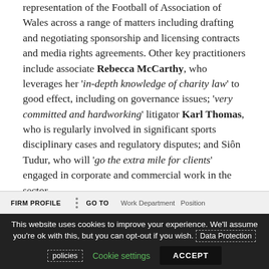representation of the Football of Association of Wales across a range of matters including drafting and negotiating sponsorship and licensing contracts and media rights agreements. Other key practitioners include associate Rebecca McCarthy, who leverages her 'in-depth knowledge of charity law' to good effect, including on governance issues; 'very committed and hardworking' litigator Karl Thomas, who is regularly involved in significant sports disciplinary cases and regulatory disputes; and Siôn Tudur, who will 'go the extra mile for clients' engaged in corporate and commercial work in the sector.
FIRM PROFILE  GO TO  Work Department  Position
This website uses cookies to improve your experience. We'll assume you're ok with this, but you can opt-out if you wish. Data Protection policies  Cookie settings  ACCEPT